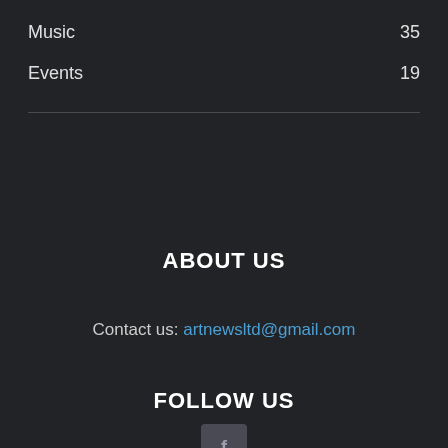Music 35
Events 19
ABOUT US
Contact us: artnewsltd@gmail.com
FOLLOW US
[Figure (logo): Facebook icon button, dark square with 'f' logo]